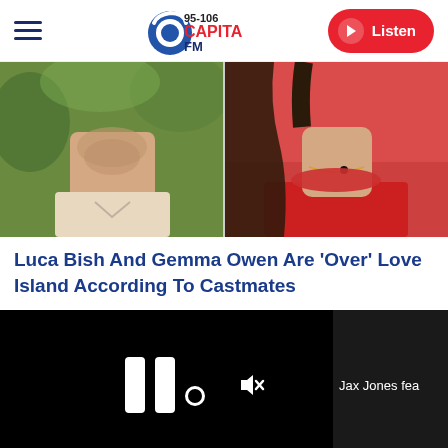95-106 Capital FM — Listen
[Figure (photo): Split photo: left side shows a male person (Luca Bish) from chin to collar in a light shirt with green foliage background; right side shows a female person (Gemma Owen) with dark hair and red outfit]
Luca Bish And Gemma Owen Are 'Over' Love Island According To Castmates
[Figure (screenshot): Video player showing paused state with pause icon and mute icon on black background, with 'Jax Jones fea' text on right side and a progress bar at the bottom]
[Figure (photo): Partially visible colorful image at the very bottom of the page]